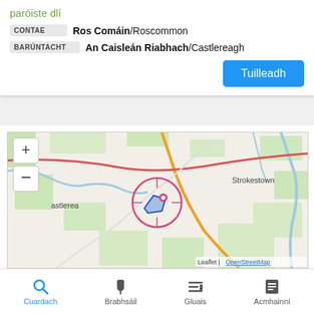paróiste dlí
| CONTAE | Ros Comáin/Roscommon |
| BARÚNTACHT | An Caisleán Riabhach/Castlereagh |
Tuilleadh
[Figure (map): OpenStreetMap showing location between Castlerea and Strokestown, with a pink circle marker and blue polygon highlighting a location in County Roscommon, Ireland. Map attribution: Leaflet | OpenStreetMap]
Ballaghabawheg
Cuardach  Brabhsáil  Gluais  Acmhainní